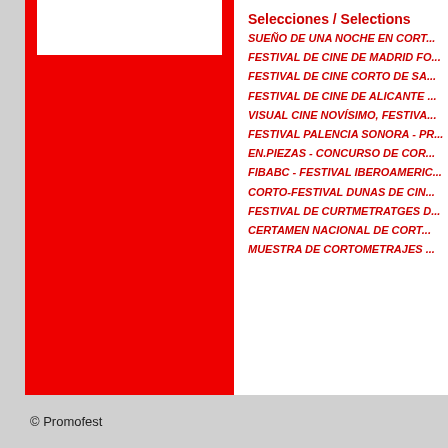Selecciones / Selections
SUEÑO DE UNA NOCHE EN CORT...
FESTIVAL DE CINE DE MADRID FO...
FESTIVAL DE CINE CORTO DE SA...
FESTIVAL DE CINE DE ALICANTE ...
VISUAL CINE NOVÍSIMO, FESTIVA...
FESTIVAL PALENCIA SONORA - PR...
EN.PIEZAS - CONCURSO DE COR...
FIBABC - FESTIVAL IBEROAMERIC...
CORTO-FESTIVAL DUNAS DE CIN...
FESTIVAL DE CURTMETRATGES D...
CERTAMEN NACIONAL DE CORT...
MUESTRA DE CORTOMETRAJES ...
© Promofest